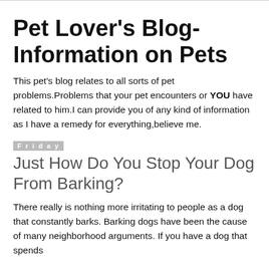Pet Lover's Blog- Information on Pets
This pet's blog relates to all sorts of pet problems.Problems that your pet encounters or YOU have related to him.I can provide you of any kind of information as I have a remedy for everything,believe me.
Friday
Just How Do You Stop Your Dog From Barking?
There really is nothing more irritating to people as a dog that constantly barks. Barking dogs have been the cause of many neighborhood arguments. If you have a dog that spends